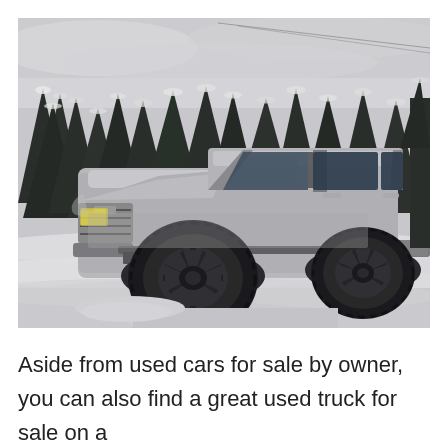[Figure (photo): A white Chevrolet Suburban SUV/truck covered in road grime and mud, parked on a snow-covered road or lot. The vehicle has dark aftermarket wheels and off-road tires. Behind it is a dense forest of snow-covered evergreen trees under an overcast sky.]
Aside from used cars for sale by owner, you can also find a great used truck for sale on a